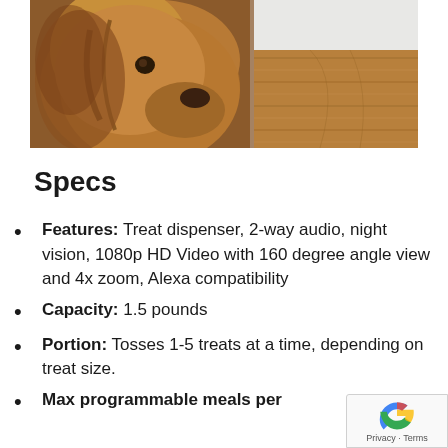[Figure (photo): A brown Labrador dog looking upward, next to a wooden furniture piece with walnut-grain panels and a white/light gray top surface.]
Specs
Features: Treat dispenser, 2-way audio, night vision, 1080p HD Video with 160 degree angle view and 4x zoom, Alexa compatibility
Capacity: 1.5 pounds
Portion: Tosses 1-5 treats at a time, depending on treat size.
Max programmable meals per